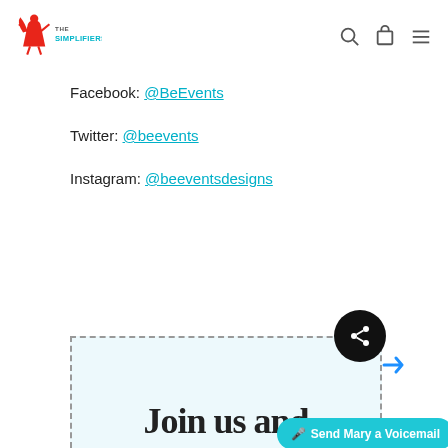The Simplifiers logo, search icon, cart icon, menu icon
Facebook: @BeEvents
Twitter: @beevents
Instagram: @beeventsdesigns
[Figure (other): Bottom section with dashed border, 'Join us and' large text, share button, Send Mary a Voicemail button]